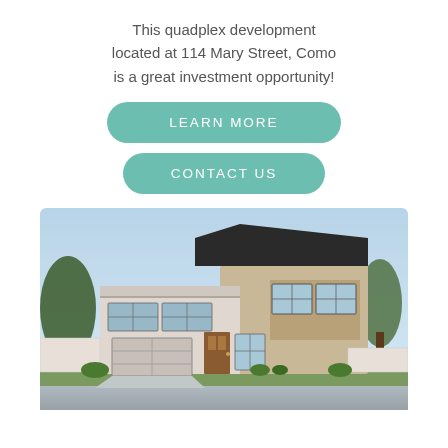This quadplex development located at 114 Mary Street, Como is a great investment opportunity!
LEARN MORE
CONTACT US
[Figure (photo): Exterior rendering of a modern two-storey residential house with large windows, dark roof, garage, and landscaped front yard under a clear sky.]